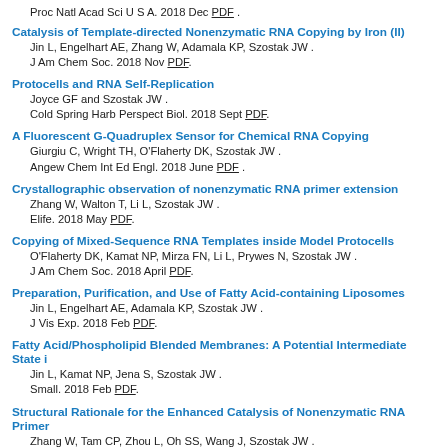Proc Natl Acad Sci U S A. 2018 Dec PDF .
Catalysis of Template-directed Nonenzymatic RNA Copying by Iron (II)
Jin L, Engelhart AE, Zhang W, Adamala KP, Szostak JW .
J Am Chem Soc. 2018 Nov PDF.
Protocells and RNA Self-Replication
Joyce GF and Szostak JW .
Cold Spring Harb Perspect Biol. 2018 Sept PDF.
A Fluorescent G-Quadruplex Sensor for Chemical RNA Copying
Giurgiu C, Wright TH, O'Flaherty DK, Szostak JW .
Angew Chem Int Ed Engl. 2018 June PDF .
Crystallographic observation of nonenzymatic RNA primer extension
Zhang W, Walton T, Li L, Szostak JW .
Elife. 2018 May PDF.
Copying of Mixed-Sequence RNA Templates inside Model Protocells
O'Flaherty DK, Kamat NP, Mirza FN, Li L, Prywes N, Szostak JW .
J Am Chem Soc. 2018 April PDF.
Preparation, Purification, and Use of Fatty Acid-containing Liposomes
Jin L, Engelhart AE, Adamala KP, Szostak JW .
J Vis Exp. 2018 Feb PDF.
Fatty Acid/Phospholipid Blended Membranes: A Potential Intermediate State i
Jin L, Kamat NP, Jena S, Szostak JW .
Small. 2018 Feb PDF.
Structural Rationale for the Enhanced Catalysis of Nonenzymatic RNA Primer
Zhang W, Tam CP, Zhou L, Oh SS, Wang J, Szostak JW .